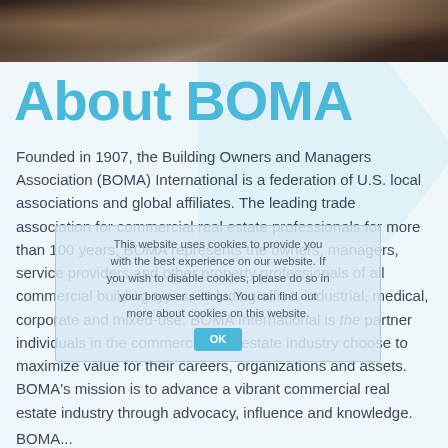[Figure (photo): Partial photo strip at top of page showing dark brown/sepia toned background, appears to be people or furniture in a conference or meeting setting]
About BOMA
Founded in 1907, the Building Owners and Managers Association (BOMA) International is a federation of U.S. local associations and global affiliates. The leading trade association for commercial real estate professionals for more than 100 years, BOMA represents the owners, managers, service providers and other property professionals of all commercial building types, including office, industrial, medical, corporate and mixed-use. BOMA International is the partner individuals in the commercial real estate industry choose to maximize value for their careers, organizations and assets. BOMA's mission is to advance a vibrant commercial real estate industry through advocacy, influence and knowledge.